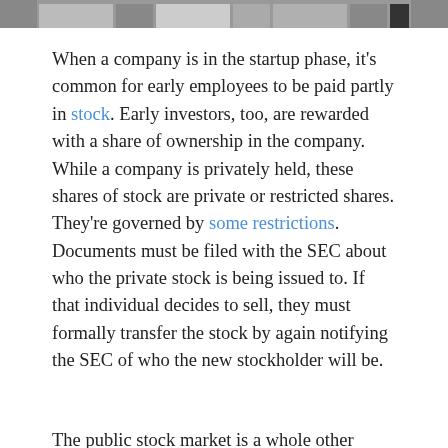[Figure (photo): Partial photo strip at top of page, showing a grayscale image with horizontal bars and shapes.]
When a company is in the startup phase, it's common for early employees to be paid partly in stock. Early investors, too, are rewarded with a share of ownership in the company. While a company is privately held, these shares of stock are private or restricted shares. They're governed by some restrictions. Documents must be filed with the SEC about who the private stock is being issued to. If that individual decides to sell, they must formally transfer the stock by again notifying the SEC of who the new stockholder will be.
The public stock market is a whole other ballgame. People can buy and sell shares of stock out in the open with relative anonymity. When a private company decides to go public, there is an initial